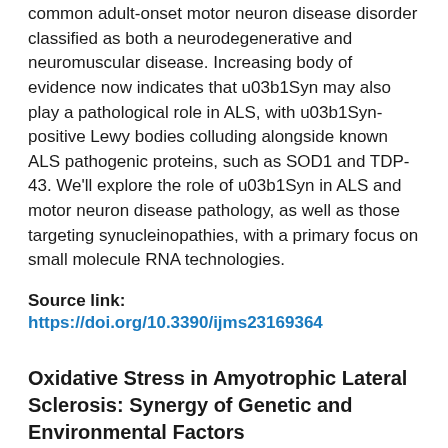common adult-onset motor neuron disease disorder classified as both a neurodegenerative and neuromuscular disease. Increasing body of evidence now indicates that u03b1Syn may also play a pathological role in ALS, with u03b1Syn-positive Lewy bodies colluding alongside known ALS pathogenic proteins, such as SOD1 and TDP-43. We'll explore the role of u03b1Syn in ALS and motor neuron disease pathology, as well as those targeting synucleinopathies, with a primary focus on small molecule RNA technologies.
Source link:
https://doi.org/10.3390/ijms23169364
Oxidative Stress in Amyotrophic Lateral Sclerosis: Synergy of Genetic and Environmental Factors